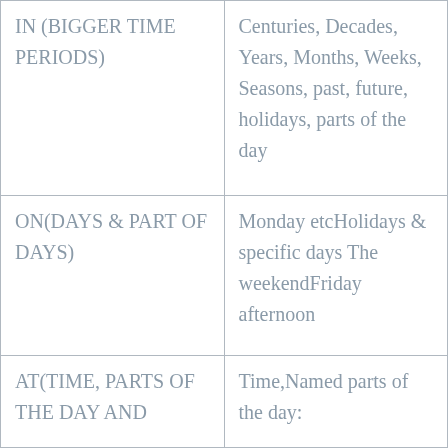| IN (BIGGER TIME PERIODS) | Centuries, Decades, Years, Months, Weeks, Seasons, past, future, holidays, parts of the day |
| ON(DAYS & PART OF DAYS) | Monday etcHolidays & specific days The weekendFriday afternoon |
| AT(TIME, PARTS OF THE DAY AND | Time,Named parts of the day: |